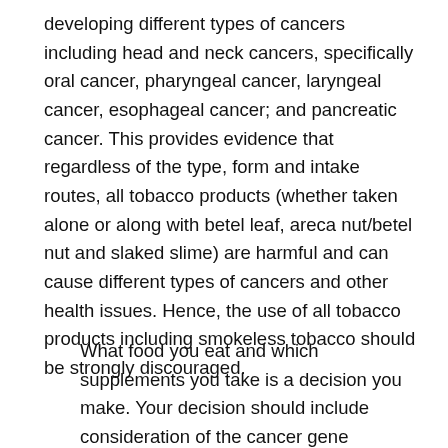developing different types of cancers including head and neck cancers, specifically oral cancer, pharyngeal cancer, laryngeal cancer, esophageal cancer; and pancreatic cancer. This provides evidence that regardless of the type, form and intake routes, all tobacco products (whether taken alone or along with betel leaf, areca nut/betel nut and slaked slime) are harmful and can cause different types of cancers and other health issues. Hence, the use of all tobacco products including smokeless tobacco should be strongly discouraged.
What food you eat and which supplements you take is a decision you make. Your decision should include consideration of the cancer gene